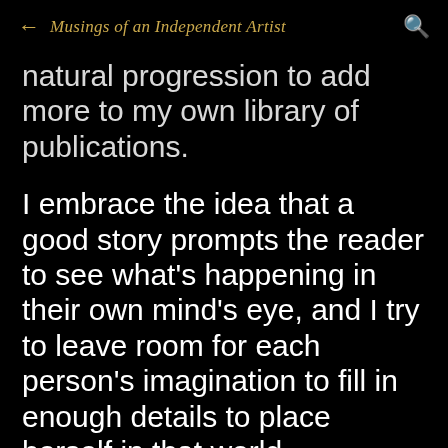← Musings of an Independent Artist 🔍
natural progression to add more to my own library of publications.

I embrace the idea that a good story prompts the reader to see what's happening in their own mind's eye, and I try to leave room for each person's imagination to fill in enough details to place herself in that world temporarily. That said, I'm planning to release at least one more psy-suspense next year in addition to my paranormal/urban fantasy books. Meanwhile, these movies